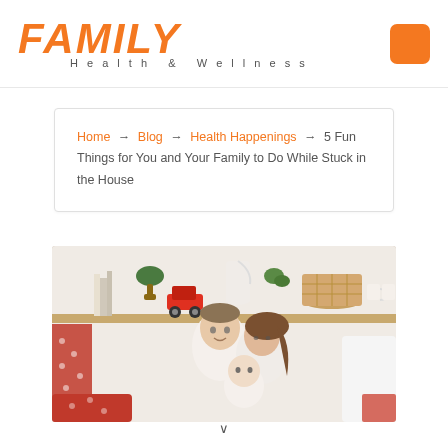FAMILY Health & Wellness
Home → Blog → Health Happenings → 5 Fun Things for You and Your Family to Do While Stuck in the House
[Figure (photo): A family photo showing a man and woman both wearing white, holding a baby, standing in front of a kitchen shelf with decorative items including a red toy car and wicker basket]
v